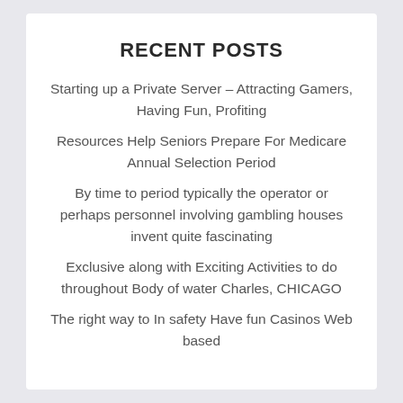RECENT POSTS
Starting up a Private Server – Attracting Gamers, Having Fun, Profiting
Resources Help Seniors Prepare For Medicare Annual Selection Period
By time to period typically the operator or perhaps personnel involving gambling houses invent quite fascinating
Exclusive along with Exciting Activities to do throughout Body of water Charles, CHICAGO
The right way to In safety Have fun Casinos Web based